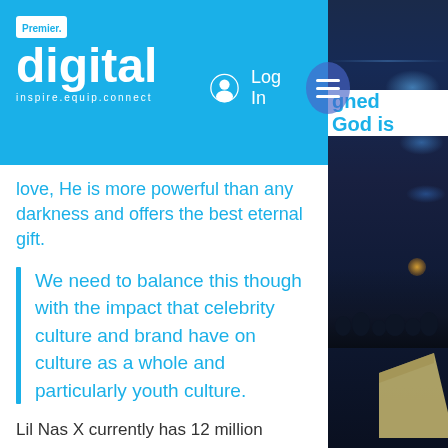Premier. digital inspire.equip.connect — Log In
gned God is love, He is more powerful than any darkness and offers the best eternal gift.
We need to balance this though with the impact that celebrity culture and brand have on culture as a whole and particularly youth culture.
Lil Nas X currently has 12 million subscribers. He has a huge following of young people who will be influenced by his work and what he does with it
[Figure (photo): Dark photo of a stage/venue with lighting rigs, audience silhouettes, and a podium visible on the right side of the page]